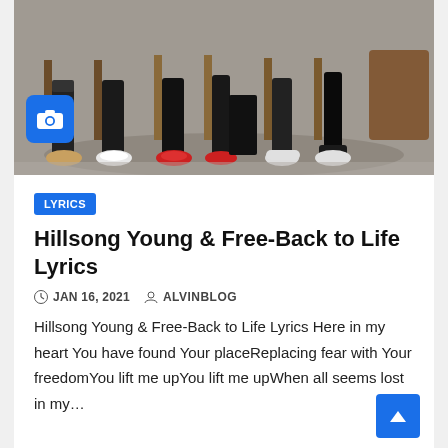[Figure (photo): Group of people seated on chairs/stools, showing only their legs and feet, in what appears to be an indoor studio or interview setting with brown chairs and a rug.]
LYRICS
Hillsong Young & Free-Back to Life Lyrics
JAN 16, 2021  ALVINBLOG
Hillsong Young & Free-Back to Life Lyrics Here in my heart You have found Your placeReplacing fear with Your freedomYou lift me upYou lift me upWhen all seems lost in my...